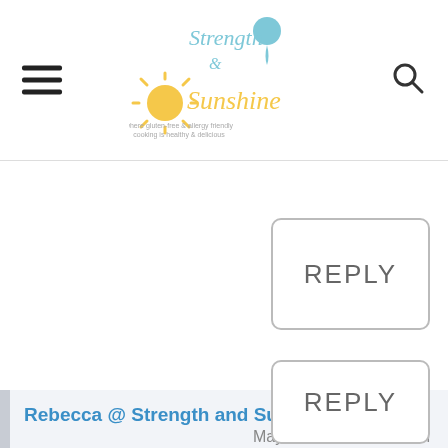Strength & Sunshine — where gluten-free & allergy-friendly cooking is healthy & delicious
REPLY
Rebecca @ Strength and Sunshine
May 06, 2016 at 8:34 am
Like sunshine ☺
REPLY